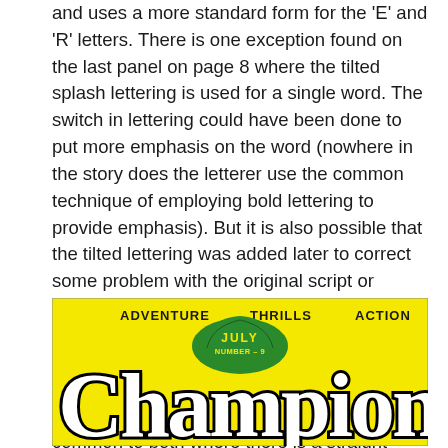and uses a more standard form for the 'E' and 'R' letters. There is one exception found on the last panel on page 8 where the tilted splash lettering is used for a single word. The switch in lettering could have been done to put more emphasis on the word (nowhere in the story does the letterer use the common technique of employing bold lettering to provide emphasis). But it is also possible that the tilted lettering was added later to correct some problem with the original script or lettering. Without the original art it is hard to be sure. My suspicion is that all the lettering, including the splash, was done by one individual. The main piece of evidence to support this is the form of the letter 'G' common to both where there is a straight vertical or near vertical segment attached to the horizontal stroke.
[Figure (illustration): Comic book cover section showing 'Champion' magazine with yellow background. Text reads ADVENTURE THRILLS ACTION at top. Large stylized white letters spelling 'Champion' with black outline. Green hat/leaf shape in center with JULY NUMBER-9 text in yellow.]